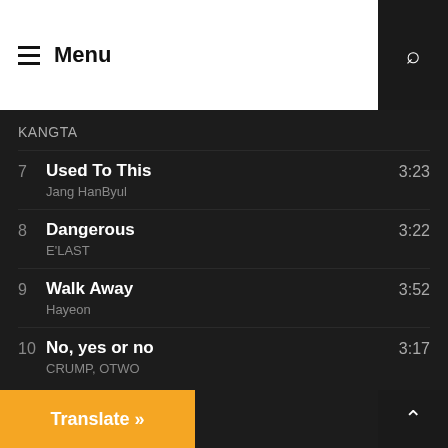Menu
KANGTA
7  Used To This  3:23
Jang HanByul
8  Dangerous  3:22
E'LAST
9  Walk Away  3:52
Hayeon
10  No, yes or no  3:17
CRUMP, OTWO
Translate »